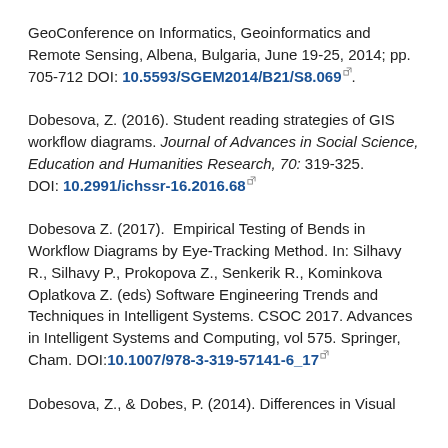GeoConference on Informatics, Geoinformatics and Remote Sensing, Albena, Bulgaria, June 19-25, 2014; pp. 705-712 DOI: 10.5593/SGEM2014/B21/S8.069.
Dobesova, Z. (2016). Student reading strategies of GIS workflow diagrams. Journal of Advances in Social Science, Education and Humanities Research, 70: 319-325. DOI: 10.2991/ichssr-16.2016.68
Dobesova Z. (2017).  Empirical Testing of Bends in Workflow Diagrams by Eye-Tracking Method. In: Silhavy R., Silhavy P., Prokopova Z., Senkerik R., Kominkova Oplatkova Z. (eds) Software Engineering Trends and Techniques in Intelligent Systems. CSOC 2017. Advances in Intelligent Systems and Computing, vol 575. Springer, Cham. DOI:10.1007/978-3-319-57141-6_17
Dobesova, Z., & Dobes, P. (2014). Differences in Visual